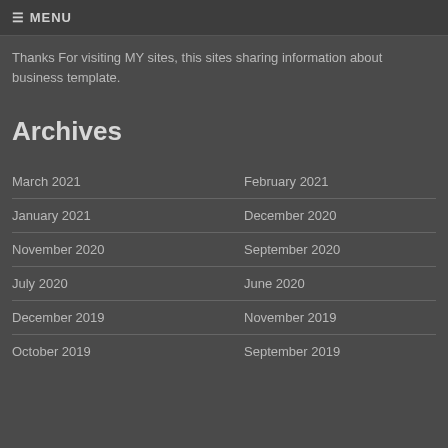☰ MENU
Thanks For visiting MY sites, this sites sharing information about business template.
Archives
March 2021
February 2021
January 2021
December 2020
November 2020
September 2020
July 2020
June 2020
December 2019
November 2019
October 2019
September 2019